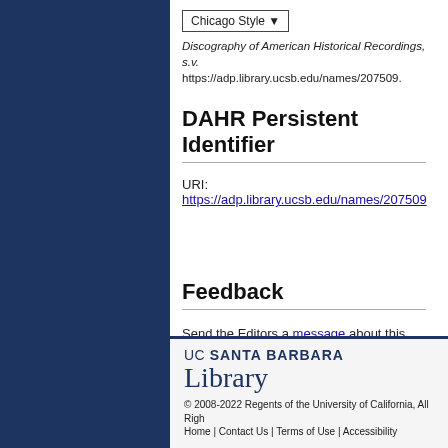Chicago Style ▾
Discography of American Historical Recordings, s.v. https://adp.library.ucsb.edu/names/207509.
DAHR Persistent Identifier
URI: https://adp.library.ucsb.edu/names/207509
Feedback
Send the Editors a message about this record.
UC SANTA BARBARA Library © 2008-2022 Regents of the University of California, All Rights Reserved. Home | Contact Us | Terms of Use | Accessibility